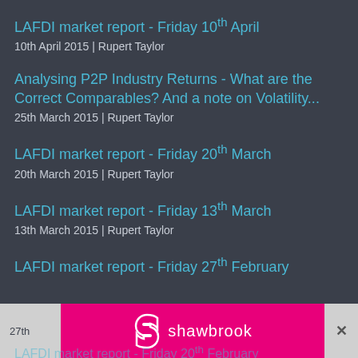LAFDI market report - Friday 10th April
10th April 2015 | Rupert Taylor
Analysing P2P Industry Returns - What are the Correct Comparables? And a note on Volatility...
25th March 2015 | Rupert Taylor
LAFDI market report - Friday 20th March
20th March 2015 | Rupert Taylor
LAFDI market report - Friday 13th March
13th March 2015 | Rupert Taylor
LAFDI market report - Friday 27th February
27th
[Figure (logo): Shawbrook bank advertisement banner — pink background with white Shawbrook logo and stylized S icon]
LAFDI market report - Friday 20th February